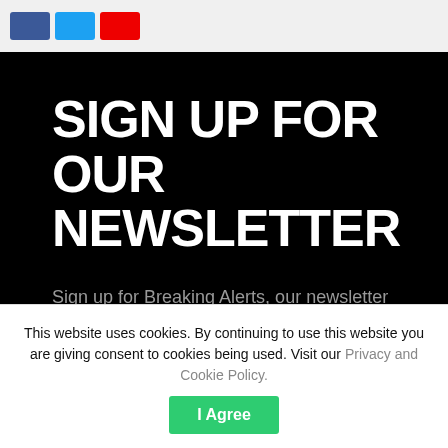[Figure (other): Social share buttons: Facebook (blue), Twitter (light blue), YouTube (red)]
SIGN UP FOR OUR NEWSLETTER
Sign up for Breaking Alerts, our newsletter putting timely and updated stock and crypto markets news into your hands.
Enter email here | Join Now!
This website uses cookies. By continuing to use this website you are giving consent to cookies being used. Visit our Privacy and Cookie Policy.
I Agree